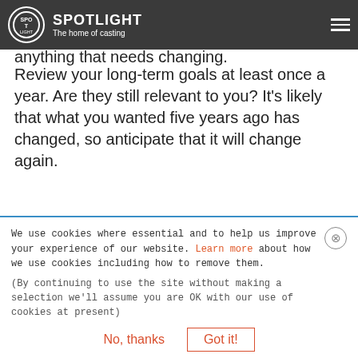SPOTLIGHT — The home of casting
As you complete (or don't complete) each goal, review how it worked for you. Tweak anything that needs changing.
Review your long-term goals at least once a year. Are they still relevant to you? It's likely that what you wanted five years ago has changed, so anticipate that it will change again.
It's important to note that no one system will work for everyone. Just like your definition of success, how you get there will be unique to you. But with these tools at hand, you'll be one step closer to understanding how to set goals that will take you towards the future you deserve.
We use cookies where essential and to help us improve your experience of our website. Learn more about how we use cookies including how to remove them.
(By continuing to use the site without making a selection we'll assume you are OK with our use of cookies at present)
No, thanks    Got it!